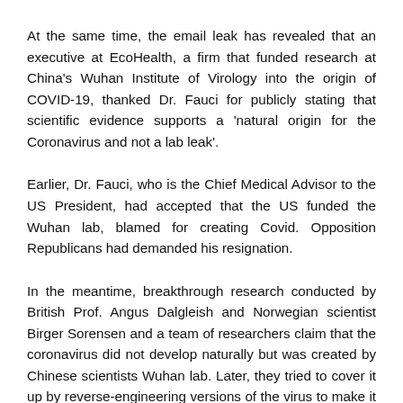At the same time, the email leak has revealed that an executive at EcoHealth, a firm that funded research at China's Wuhan Institute of Virology into the origin of COVID-19, thanked Dr. Fauci for publicly stating that scientific evidence supports a 'natural origin for the Coronavirus and not a lab leak'.
Earlier, Dr. Fauci, who is the Chief Medical Advisor to the US President, had accepted that the US funded the Wuhan lab, blamed for creating Covid. Opposition Republicans had demanded his resignation.
In the meantime, breakthrough research conducted by British Prof. Angus Dalgleish and Norwegian scientist Birger Sorensen and a team of researchers claim that the coronavirus did not develop naturally but was created by Chinese scientists Wuhan lab. Later, they tried to cover it up by reverse-engineering versions of the virus to make it look like it evolved naturally from bats. Several such experts have noted a similar observation.